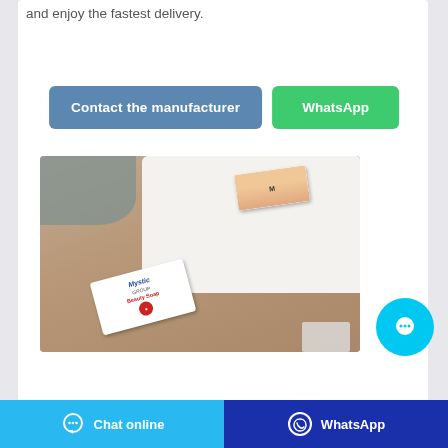and enjoy the fastest delivery.
Contact the manufacturer
WhatsApp
[Figure (photo): Mystic Beauty Soap product boxes placed on a white towel on a wooden surface]
Chat online
WhatsApp